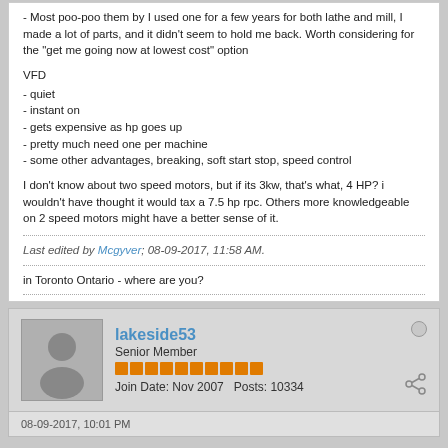- Most poo-poo them by I used one for a few years for both lathe and mill, I made a lot of parts, and it didn't seem to hold me back. Worth considering for the "get me going now at lowest cost" option
VFD
- quiet
- instant on
- gets expensive as hp goes up
- pretty much need one per machine
- some other advantages, breaking, soft start stop, speed control
I don't know about two speed motors, but if its 3kw, that's what, 4 HP? i wouldn't have thought it would tax a 7.5 hp rpc. Others more knowledgeable on 2 speed motors might have a better sense of it.
Last edited by Mcgyver; 08-09-2017, 11:58 AM.
in Toronto Ontario - where are you?
lakeside53
Senior Member
Join Date: Nov 2007   Posts: 10334
08-09-2017, 10:01 PM